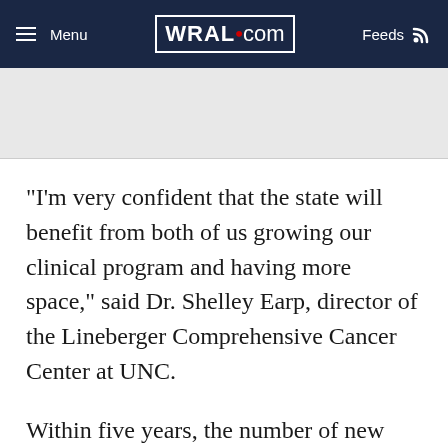Menu | WRAL.com | Feeds
"I'm very confident that the state will benefit from both of us growing our clinical program and having more space," said Dr. Shelley Earp, director of the Lineberger Comprehensive Cancer Center at UNC.
Within five years, the number of new cancer cases in the Triangle alone is expected to jump by 21 percent, said Kevin Sowers, chief